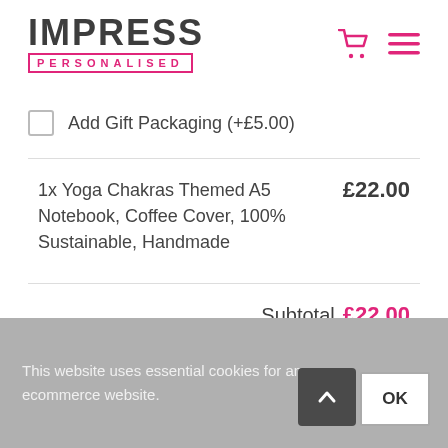[Figure (logo): IMPRESS PERSONALISED logo with bold dark text and pink border around PERSONALISED text]
Add Gift Packaging (+£5.00)
1x Yoga Chakras Themed A5 Notebook, Coffee Cover, 100% Sustainable, Handmade    £22.00
Subtotal £22.00
This website uses essential cookies for an ecommerce website.